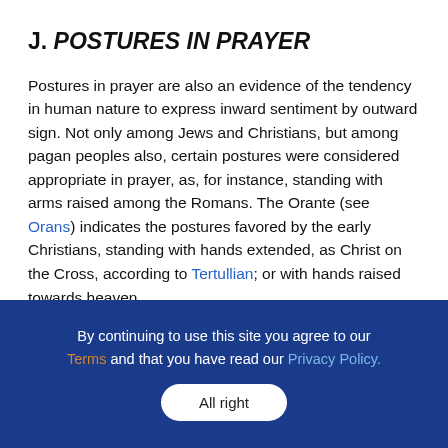J. POSTURES IN PRAYER
Postures in prayer are also an evidence of the tendency in human nature to express inward sentiment by outward sign. Not only among Jews and Christians, but among pagan peoples also, certain postures were considered appropriate in prayer, as, for instance, standing with arms raised among the Romans. The Orante (see Orans) indicates the postures favored by the early Christians, standing with hands extended, as Christ on the Cross, according to Tertullian; or with hands raised towards heaven,
By continuing to use this site you agree to our Terms and that you have read our Privacy Policy. All right